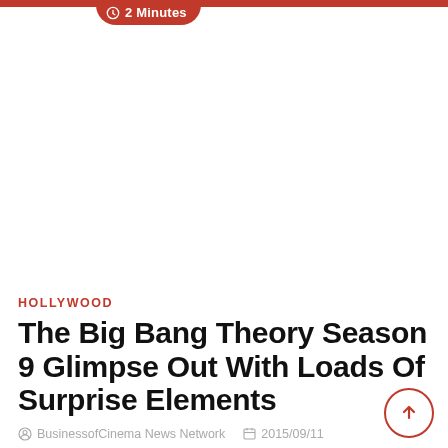2 Minutes
HOLLYWOOD
The Big Bang Theory Season 9 Glimpse Out With Loads Of Surprise Elements
BusinessofCinema News Network   2015/09/11
All the fans of sitcom 'The Big Bang Theory' have news to rejoice for. The super hit sitcom is coming with its much awaited season 9 soon.